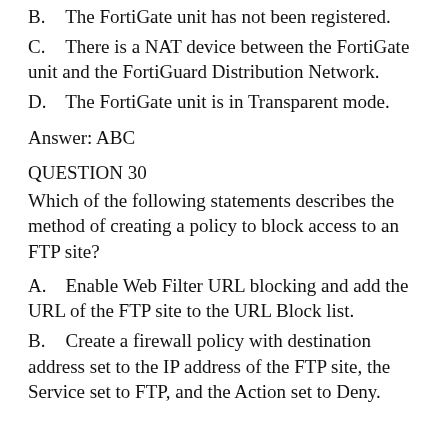B.    The FortiGate unit has not been registered.
C.    There is a NAT device between the FortiGate unit and the FortiGuard Distribution Network.
D.    The FortiGate unit is in Transparent mode.
Answer: ABC
QUESTION 30
Which of the following statements describes the method of creating a policy to block access to an FTP site?
A.    Enable Web Filter URL blocking and add the URL of the FTP site to the URL Block list.
B.    Create a firewall policy with destination address set to the IP address of the FTP site, the Service set to FTP, and the Action set to Deny.